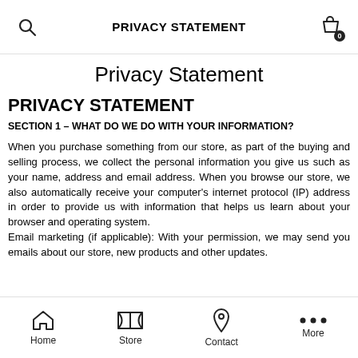PRIVACY STATEMENT
Privacy Statement
PRIVACY STATEMENT
SECTION 1 – WHAT DO WE DO WITH YOUR INFORMATION?
When you purchase something from our store, as part of the buying and selling process, we collect the personal information you give us such as your name, address and email address. When you browse our store, we also automatically receive your computer's internet protocol (IP) address in order to provide us with information that helps us learn about your browser and operating system. Email marketing (if applicable): With your permission, we may send you emails about our store, new products and other updates.
Home  Store  Contact  More